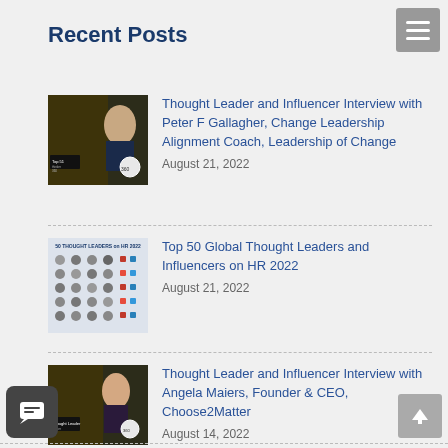Recent Posts
[Figure (photo): Thumbnail image for post about Thought Leader interview with Peter F Gallagher, dark background with person and thinker360 badge]
Thought Leader and Influencer Interview with Peter F Gallagher, Change Leadership Alignment Coach, Leadership of Change
August 21, 2022
[Figure (photo): Thumbnail image showing Top 50 Global Thought Leaders on HR 2022 grid of small photos]
Top 50 Global Thought Leaders and Influencers on HR 2022
August 21, 2022
[Figure (photo): Thumbnail image for Thought Leader interview with Angela Maiers, dark background with person and thinker360 badge]
Thought Leader and Influencer Interview with Angela Maiers, Founder & CEO, Choose2Matter
August 14, 2022